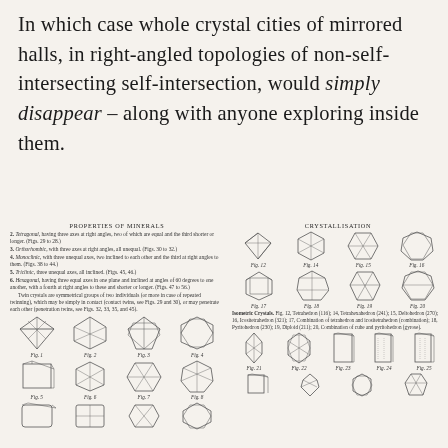In which case whole crystal cities of mirrored halls, in right-angled topologies of non-self-intersecting self-intersection, would simply disappear – along with anyone exploring inside them.
[Figure (illustration): Left column: 'Properties of Minerals' page showing numbered text descriptions of crystal systems (Tetragonal, Orthorhombic, Monoclinic, Triclinic, Hexagonal) and text about twin crystals, followed by rows of geometric crystal form drawings labeled Fig. 1 through Fig. 8 and partial row below. Right column: 'Crystallisation' page showing rows of geometric crystal form drawings labeled Fig. 12 through Fig. 20 and partial row below, with a caption block describing Isometric Crystals figures.]